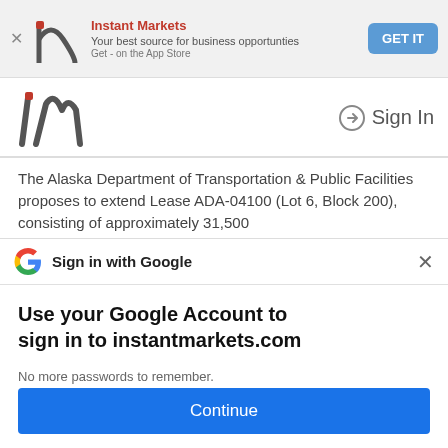[Figure (screenshot): Instant Markets app banner with logo, title 'Instant Markets', subtitle 'Your best source for business opportunties', 'Get - on the App Store', and a blue 'GET IT' button]
[Figure (logo): Instant Markets logo (stylized 'im') with Sign In link on right]
The Alaska Department of Transportation & Public Facilities proposes to extend Lease ADA-04100 (Lot 6, Block 200), consisting of approximately 31,500
[Figure (screenshot): Google 'Sign in with Google' prompt header with G logo and X close button]
Use your Google Account to sign in to instantmarkets.com
No more passwords to remember.
Signing in is fast, simple and secure.
[Figure (illustration): Google account illustration with keys and colored circles]
Continue